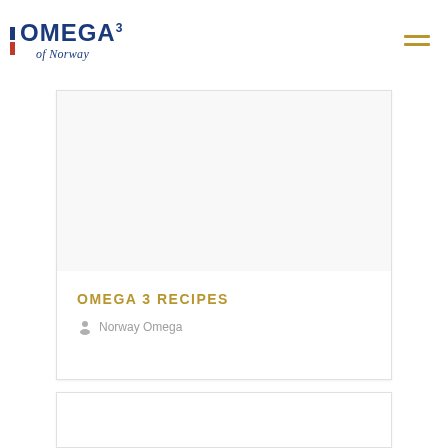OMEGA3 of Norway
[Figure (other): Omega 3 of Norway website card with white background, showing a large image area (blank/white), the title OMEGA 3 RECIPES in gold, and author Norway Omega with user icon in grey.]
OMEGA 3 RECIPES
Norway Omega